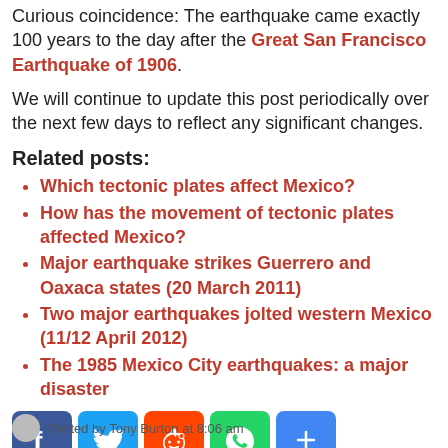Curious coincidence: The earthquake came exactly 100 years to the day after the Great San Francisco Earthquake of 1906.
We will continue to update this post periodically over the next few days to reflect any significant changes.
Related posts:
Which tectonic plates affect Mexico?
How has the movement of tectonic plates affected Mexico?
Major earthquake strikes Guerrero and Oaxaca states (20 March 2011)
Two major earthquakes jolted western Mexico (11/12 April 2012)
The 1985 Mexico City earthquakes: a major disaster
[Figure (infographic): Social sharing buttons: Facebook, Twitter, Reddit, WhatsApp, Share]
Posted by Tony Burton at 8:06 am